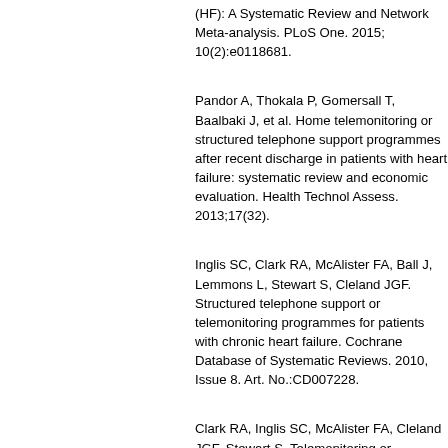(HF): A Systematic Review and Network Me... 2015; 10(2):e0118681.
Pandor A, Thokala P, Gomersall T, Baalbaki J, et al. Home telemonitoring or structured t... programmes after recent discharge in patie... systematic review and economic evaluation... Assess. 2013;17(32).
Inglis SC, Clark RA, McAlister FA, Ball J, Le... Stewart S, Cleland JGF. Structured telepho... telemonitoring programmes for patients with... Cochrane Database of Systematic Reviews... No.:CD007228.
Clark RA, Inglis SC, McAlister FA, Cleland J... Telemonitoring or structured telephone supp... patients with chronic heart failure: systemat... analysis. BMJ. 2007:doi:10.1136/bmj.39156
Angermann CE, Stoerk S, Gelbrich G, Falle... et al. Competence Network Heart Failure. M...